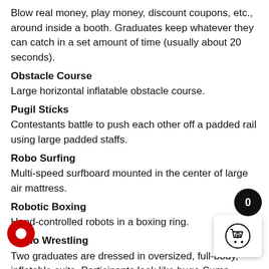Blow real money, play money, discount coupons, etc., around inside a booth. Graduates keep whatever they can catch in a set amount of time (usually about 20 seconds).
Obstacle Course
Large horizontal inflatable obstacle course.
Pugil Sticks
Contestants battle to push each other off a padded rail using large padded staffs.
Robo Surfing
Multi-speed surfboard mounted in the center of large air mattress.
Robotic Boxing
Hand-controlled robots in a boxing ring.
Sumo Wrestling
Two graduates are dressed in oversized, full-body, inflatable suits. Participants look like huge Sumo wrestling m... audience probably enjoys this as much as the part...
Wii Surfing
Body-controlled, video interactive.